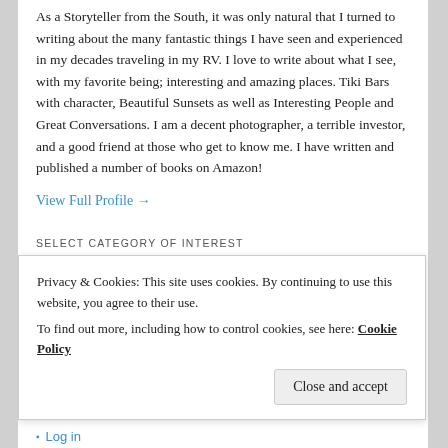As a Storyteller from the South, it was only natural that I turned to writing about the many fantastic things I have seen and experienced in my decades traveling in my RV. I love to write about what I see, with my favorite being; interesting and amazing places. Tiki Bars with character, Beautiful Sunsets as well as Interesting People and Great Conversations. I am a decent photographer, a terrible investor, and a good friend at those who get to know me. I have written and published a number of books on Amazon!
View Full Profile →
SELECT CATEGORY OF INTEREST
Select Category
ARCHIVE OF POSTS
Privacy & Cookies: This site uses cookies. By continuing to use this website, you agree to their use. To find out more, including how to control cookies, see here: Cookie Policy
Close and accept
Log in